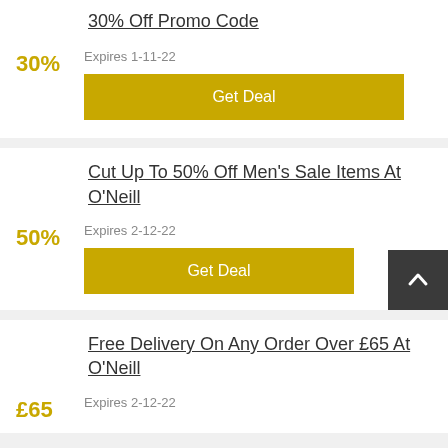30% Off Promo Code
30%
Expires 1-11-22
Get Deal
Cut Up To 50% Off Men's Sale Items At O'Neill
50%
Expires 2-12-22
Get Deal
Free Delivery On Any Order Over £65 At O'Neill
£65
Expires 2-12-22